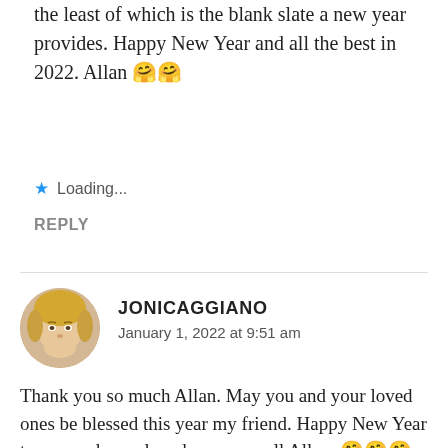the least of which is the blank slate a new year provides. Happy New Year and all the best in 2022. Allan 🤗🤗
★ Loading...
REPLY
JONICAGGIANO
January 1, 2022 at 9:51 am
Thank you so much Allan. May you and your loved ones be blessed this year my friend. Happy New Year to you and your loved ones as well Allan. 🤗🤗🤗